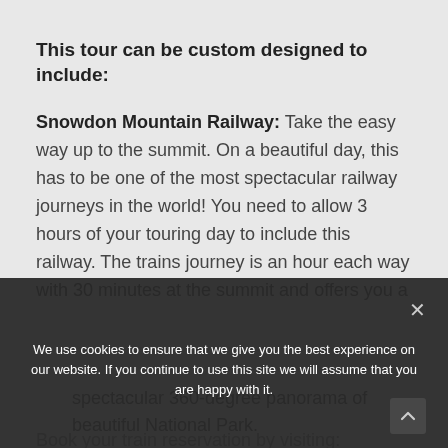This tour can be custom designed to include:
Snowdon Mountain Railway: Take the easy way up to the summit. On a beautiful day, this has to be one of the most spectacular railway journeys in the world! You need to allow 3 hours of your touring day to include this railway. The trains journey is an hour each way with 30 minutes at the summit and offers you a spectacular 360-degree panorama of the beautiful National Park.
Book your train reservation by visiting: http://snowdonticket.co.uk/
We use cookies to ensure that we give you the best experience on our website. If you continue to use this site we will assume that you are happy with it.